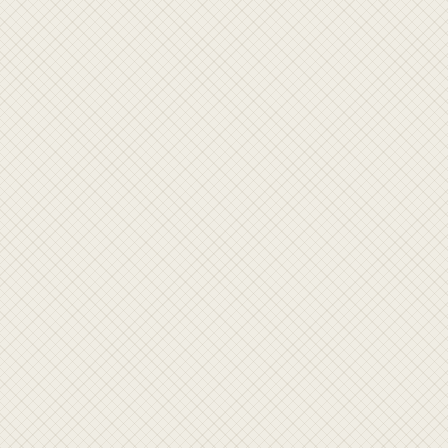[Figure (other): Textured beige/cream background panel on the left side of the page]
[Figure (other): First coupon card (partially visible at top): VERIFIED green badge, Activate button in dark blue, 'No coupon co...' text, 'See all Brightsi...' link in blue]
[Figure (other): Second coupon card: VERIFIED green badge, 'Reversion App...' title, Activate button in dark blue, 'No coupon co...' text, 'See all Therade...' link in blue]
[Figure (other): Third coupon card (partially visible at bottom): VERIFIED green badge, '30% off any C...' title, 'Coupon Code:' label in bold, green circle with question mark icon]